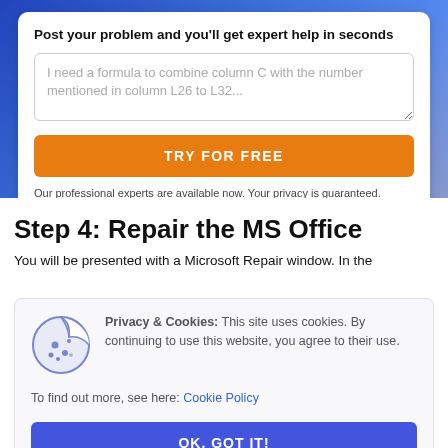Post your problem and you'll get expert help in seconds
I need a formula to combine column C with the number mentioned in column L26 to L32...
TRY FOR FREE
Our professional experts are available now. Your privacy is guaranteed.
Step 4: Repair the MS Office
You will be presented with a Microsoft Repair window. In the
Privacy & Cookies: This site uses cookies. By continuing to use this website, you agree to their use.

To find out more, see here: Cookie Policy
OK, GOT IT!